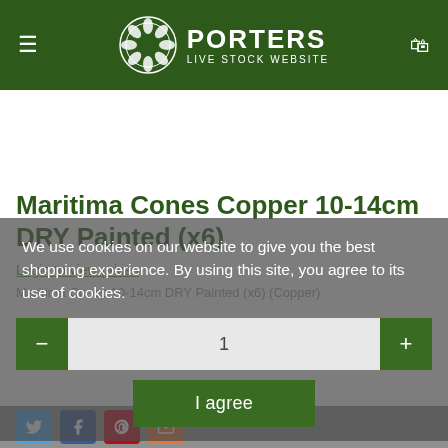PORTERS LIVE STOCK WEBSITE
Maritima Cones Copper 10-14cm DRY Painted (x6)
Login to view prices
Maritima Cones 10-14cm DRY Painted (x6) (Copper)
We use cookies on our website to give you the best shopping experience. By using this site, you agree to its use of cookies.
I agree